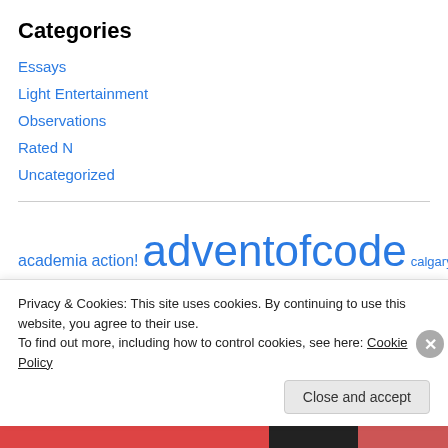Categories
Essays
Light Entertainment
Observations
Rated N
Uncategorized
[Figure (other): Tag cloud with links: academia, action!, adventofcode (large), calgary, canada, comics, community, computers (large), conference, conway, cooking]
Privacy & Cookies: This site uses cookies. By continuing to use this website, you agree to their use. To find out more, including how to control cookies, see here: Cookie Policy
Close and accept